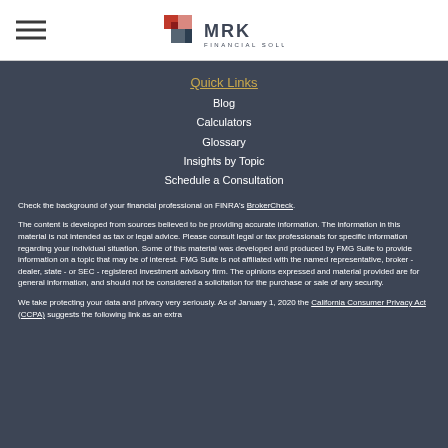[Figure (logo): MRK Financial Solutions logo with geometric red/blue square icon and text]
Quick Links
Blog
Calculators
Glossary
Insights by Topic
Schedule a Consultation
Check the background of your financial professional on FINRA's BrokerCheck.
The content is developed from sources believed to be providing accurate information. The information in this material is not intended as tax or legal advice. Please consult legal or tax professionals for specific information regarding your individual situation. Some of this material was developed and produced by FMG Suite to provide information on a topic that may be of interest. FMG Suite is not affiliated with the named representative, broker - dealer, state - or SEC - registered investment advisory firm. The opinions expressed and material provided are for general information, and should not be considered a solicitation for the purchase or sale of any security.
We take protecting your data and privacy very seriously. As of January 1, 2020 the California Consumer Privacy Act (CCPA) suggests the following link as an extra